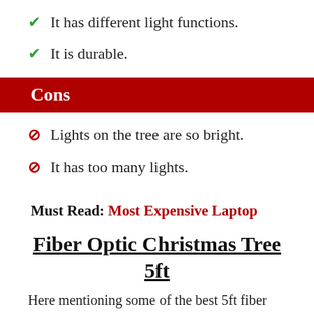It has different light functions.
It is durable.
Cons
Lights on the tree are so bright.
It has too many lights.
Must Read: Most Expensive Laptop
Fiber Optic Christmas Tree 5ft
Here mentioning some of the best 5ft fiber optic